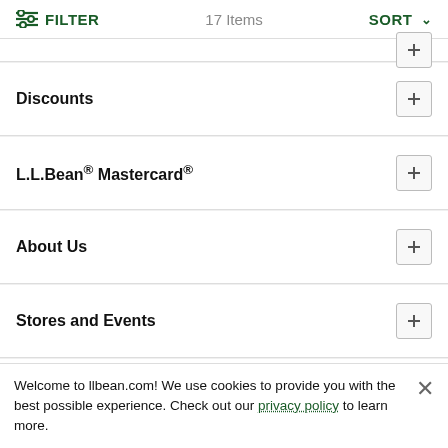FILTER  17 Items  SORT
Discounts
L.L.Bean® Mastercard®
About Us
Stores and Events
L.L.Bean for Business
Gifts
Explore the Outdoors
Welcome to llbean.com! We use cookies to provide you with the best possible experience. Check out our privacy policy to learn more.